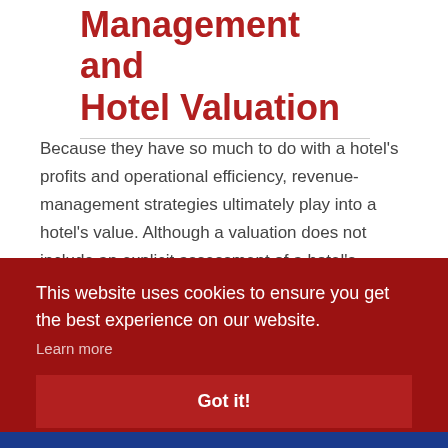Management and Hotel Valuation
Because they have so much to do with a hotel's profits and operational efficiency, revenue-management strategies ultimately play into a hotel's value. Although a valuation does not include an explicit assessment of a hotel's revenue-management strategy, some knowledge of a hotel's successes and
This website uses cookies to ensure you get the best experience on our website.
Learn more
Got it!